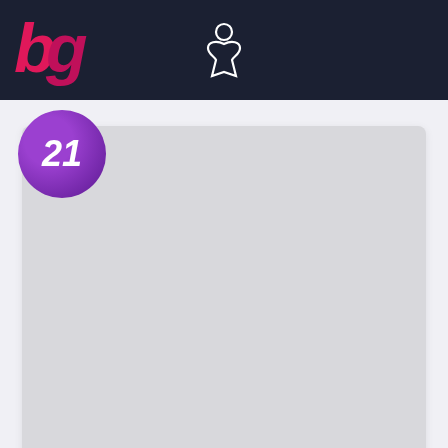bg [board game site header with meeple icon]
[Figure (screenshot): Rank badge showing number 21 on purple circle, with grey placeholder game image below]
Obsession : Wessex Expansion
15  Voter
[Figure (screenshot): Rank badge showing number 22 on purple circle, with grey placeholder game image below]